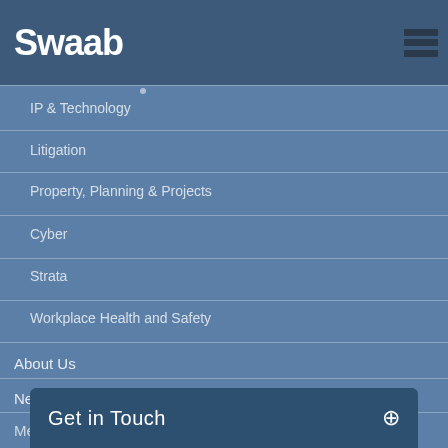Swaab
IP & Technology
Litigation
Property, Planning & Projects
Cyber
Strata
Workplace Health and Safety
About Us
News
Meritas
Awards
Al…
Get in Touch